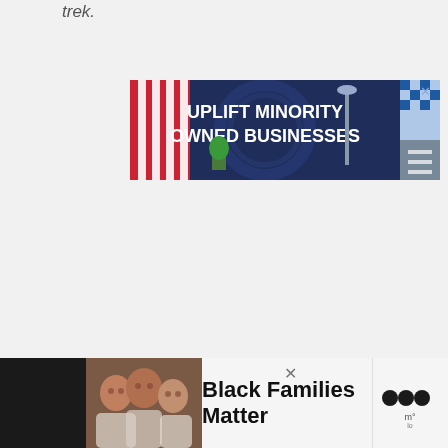trek.
[Figure (illustration): Advertisement banner: UPLIFT MINORITY OWNED BUSINESSES on dark blue background with illustrated storefront]
[Figure (illustration): Advertisement banner: Black Families Matter with photo of smiling family and logo on right]